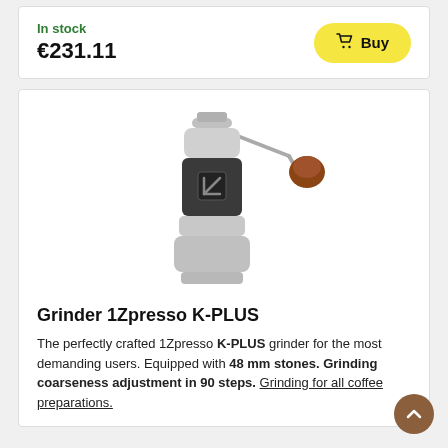In stock
€231.11
Buy
[Figure (photo): Manual coffee grinder 1Zpresso K-PLUS with silver aluminum body, rubber grip, and wooden handle knob]
Grinder 1Zpresso K-PLUS
The perfectly crafted 1Zpresso K-PLUS grinder for the most demanding users. Equipped with 48 mm stones. Grinding coarseness adjustment in 90 steps. Grinding for all coffee preparations.